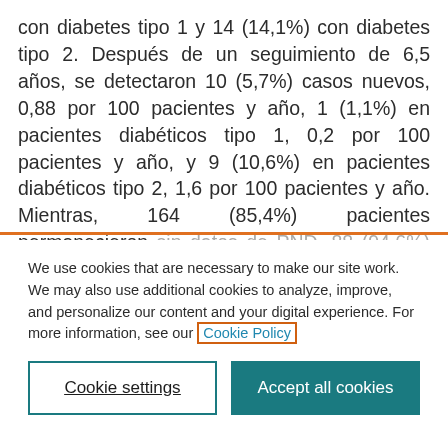con diabetes tipo 1 y 14 (14,1%) con diabetes tipo 2. Después de un seguimiento de 6,5 años, se detectaron 10 (5,7%) casos nuevos, 0,88 por 100 pacientes y año, 1 (1,1%) en pacientes diabéticos tipo 1, 0,2 por 100 pacientes y año, y 9 (10,6%) en pacientes diabéticos tipo 2, 1,6 por 100 pacientes y año. Mientras, 164 (85,4%) pacientes permanecieron sin datos de PND, 88 (94,6%) con diabetes tipo 1 y 76
We use cookies that are necessary to make our site work. We may also use additional cookies to analyze, improve, and personalize our content and your digital experience. For more information, see our Cookie Policy
Cookie settings
Accept all cookies